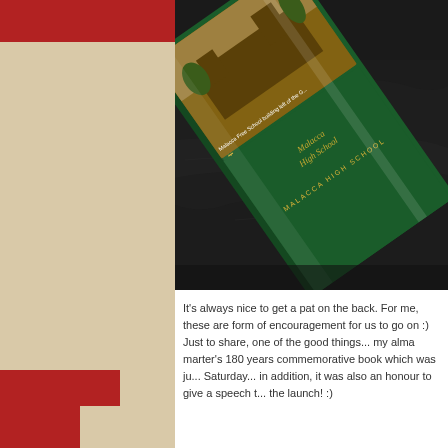[Figure (photo): Close-up photograph of a green hardcover commemorative book titled 'Malacca High School' resting on a black leather surface. The book spine reads 'MALACCA HIGH SCHOOL' in gold lettering. The cover shows a historical photograph of the Malacca Free School building.]
It's always nice to get a pat on the back. For me, these are form of encouragement for us to go on :) Just to share, one of the good things... my alma marter's 180 years commemorative book which was ju... Saturday... in addition, it was also an honour to give a speech t... the launch! :)